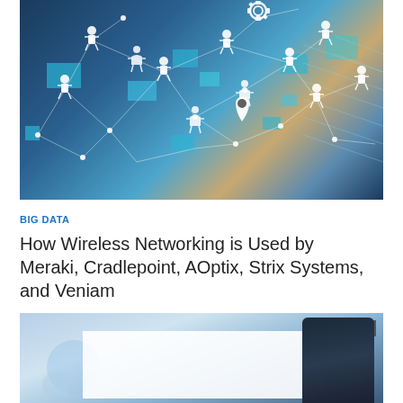[Figure (photo): Network visualization with white human figure icons connected by lines on a blue teal background, with map location pin icon in center, overlaid on a blurred office/world map background with teal accent squares]
BIG DATA
How Wireless Networking is Used by Meraki, Cradlepoint, AOptix, Strix Systems, and Veniam
[Figure (photo): Close-up of a dark smartphone screen with blue light effects and a partial white popup overlay with close button (x)]